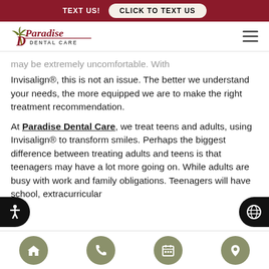TEXT US! | CLICK TO TEXT US
[Figure (logo): Paradise Dental Care logo with palm tree graphic and cursive/serif wordmark]
may be extremely uncomfortable. With Invisalign®, this is not an issue. The better we understand your needs, the more equipped we are to make the right treatment recommendation.
At Paradise Dental Care, we treat teens and adults, using Invisalign® to transform smiles. Perhaps the biggest difference between treating adults and teens is that teenagers may have a lot more going on. While adults are busy with work and family obligations. Teenagers will have school, extracurricular
Home | Phone | Calendar | Location